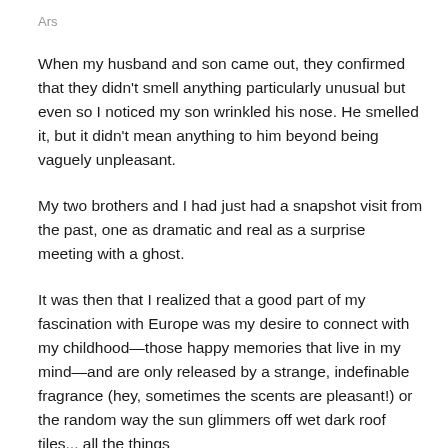Ars
When my husband and son came out, they confirmed that they didn't smell anything particularly unusual but even so I noticed my son wrinkled his nose. He smelled it, but it didn't mean anything to him beyond being vaguely unpleasant.
My two brothers and I had just had a snapshot visit from the past, one as dramatic and real as a surprise meeting with a ghost.
It was then that I realized that a good part of my fascination with Europe was my desire to connect with my childhood—those happy memories that live in my mind—and are only released by a strange, indefinable fragrance (hey, sometimes the scents are pleasant!) or the random way the sun glimmers off wet dark roof tiles... all the things